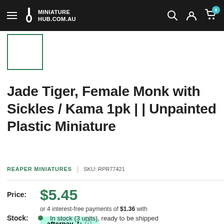MINIATURE HUB.COM.AU
[Figure (photo): Small product thumbnail image placeholder with green border]
Jade Tiger, Female Monk with Sickles / Kama 1pk | | Unpainted Plastic Miniature
REAPER MINIATURES | SKU: RPR77421
Price: $5.45 or 4 interest-free payments of $1.36 with afterpay
Stock: In stock (3 units), ready to be shipped